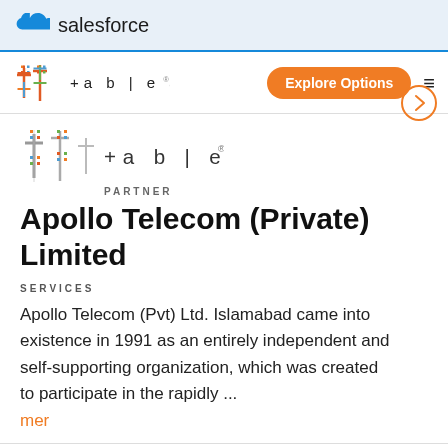salesforce
[Figure (logo): Tableau logo with 'PARTNER' label below]
Apollo Telecom (Private) Limited
SERVICES
Apollo Telecom (Pvt) Ltd. Islamabad came into existence in 1991 as an entirely independent and self-supporting organization, which was created to participate in the rapidly ...
mer
[Figure (logo): Partial Tableau logo at bottom of page]